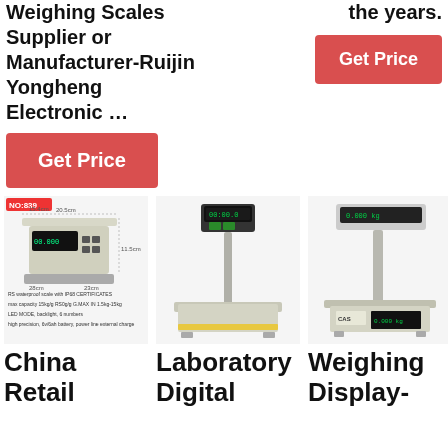Weighing Scales Supplier or Manufacturer-Ruijin Yongheng Electronic …
the years.
Get Price
Get Price
[Figure (photo): China Retail weighing scale product photo with dimensions and spec text, labeled NO:839]
[Figure (photo): Laboratory Digital weighing scale with pole display]
[Figure (photo): Weighing Display scale with pole-mounted display]
China Retail
Laboratory Digital
Weighing Display-